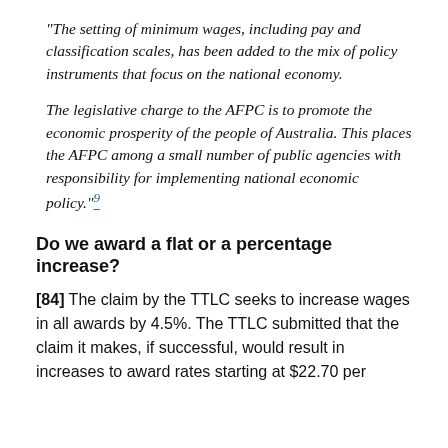"The setting of minimum wages, including pay and classification scales, has been added to the mix of policy instruments that focus on the national economy.

The legislative charge to the AFPC is to promote the economic prosperity of the people of Australia. This places the AFPC among a small number of public agencies with responsibility for implementing national economic policy."9
Do we award a flat or a percentage increase?
[84] The claim by the TTLC seeks to increase wages in all awards by 4.5%. The TTLC submitted that the claim it makes, if successful, would result in increases to award rates starting at $22.70 per